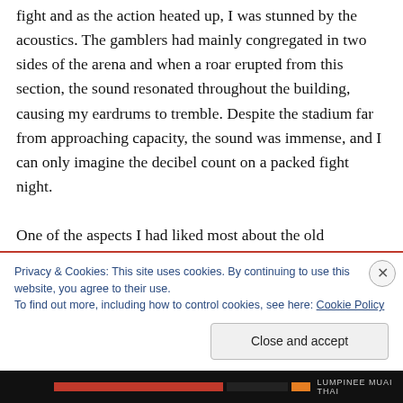fight and as the action heated up, I was stunned by the acoustics. The gamblers had mainly congregated in two sides of the arena and when a roar erupted from this section, the sound resonated throughout the building, causing my eardrums to tremble. Despite the stadium far from approaching capacity, the sound was immense, and I can only imagine the decibel count on a packed fight night.

One of the aspects I had liked most about the old Lumpinee stadium was having the freedom to walk around the fighters' warm up area and to cheer from the corner if
Privacy & Cookies: This site uses cookies. By continuing to use this website, you agree to their use.
To find out more, including how to control cookies, see here: Cookie Policy
Close and accept